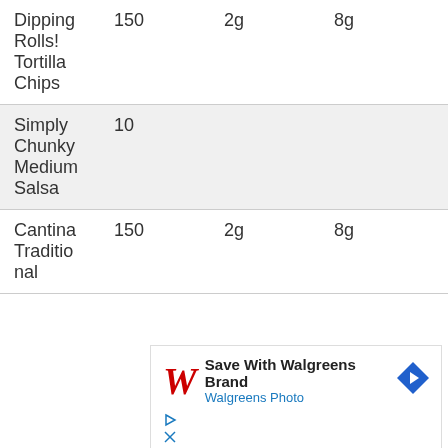| Dipping Rolls! Tortilla Chips | 150 | 2g | 8g |
| Simply Chunky Medium Salsa | 10 |  |  |
| Cantina Traditional | 150 | 2g | 8g |
[Figure (other): Advertisement for Walgreens Brand - Save With Walgreens Brand, Walgreens Photo, with Walgreens W logo and navigation arrow icon]